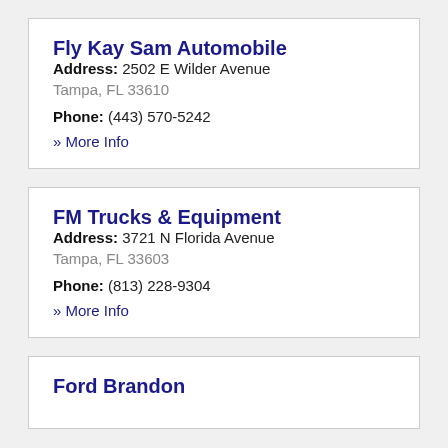Fly Kay Sam Automobile
Address: 2502 E Wilder Avenue
Tampa, FL 33610
Phone: (443) 570-5242
» More Info
FM Trucks & Equipment
Address: 3721 N Florida Avenue
Tampa, FL 33603
Phone: (813) 228-9304
» More Info
Ford Brandon